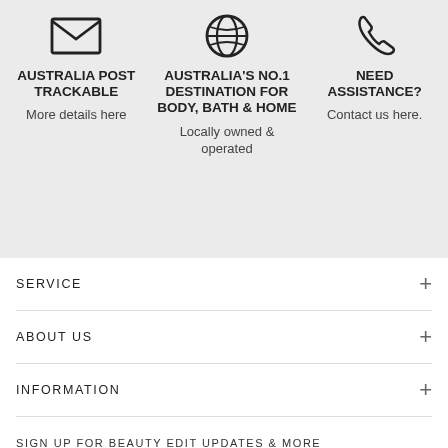[Figure (infographic): Three-column feature bar with icons: envelope icon for Australia Post Trackable, globe icon for Australia's No.1 Destination for Body Bath & Home, phone icon for Need Assistance]
AUSTRALIA POST TRACKABLE
More details here
AUSTRALIA'S NO.1 DESTINATION FOR BODY, BATH & HOME
Locally owned & operated
NEED ASSISTANCE?
Contact us here.
SERVICE
ABOUT US
INFORMATION
SIGN UP FOR BEAUTY EDIT UPDATES & MORE